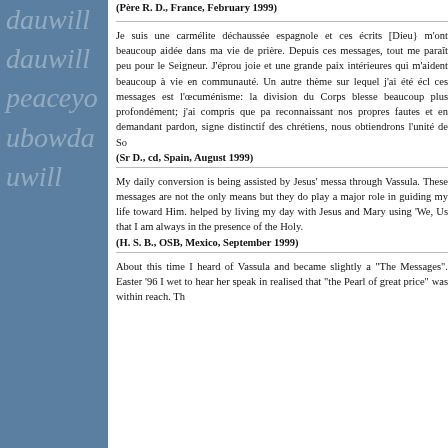avec vous tous. Loue soit Jésus-Christ !
(Père R. D., France, February 1999)
Je suis une carmélite déchaussée espagnole et ces écrits [Dieu} m'ont beaucoup aidée dans ma vie de prière. Depuis ces messages, tout me paraît peu pour le Seigneur. J'éprouve joie et une grande paix intérieures qui m'aident beaucoup à vie en communauté. Un autre thème sur lequel j'ai été éclairée par ces messages est l'œcuménisme: la division du Corps blesse beaucoup plus profondément; j'ai compris que par reconnaissant nos propres fautes et en demandant pardon, signe distinctif des chrétiens, nous obtiendrons l'unité de So
(Sr D., cd, Spain, August 1999)
My daily conversion is being assisted by Jesus' messages through Vassula. These messages are not the only means but they do play a major role in guiding my life toward Him. helped by living my day with Jesus and Mary using 'We, Us' that I am always in the presence of the Holy.
(H. S. B., OSB, Mexico, September 1999)
About this time I heard of Vassula and became slightly a "The Messages". Easter '96 I wet to hear her speak in realised that "the Pearl of great price" was within reach. Th